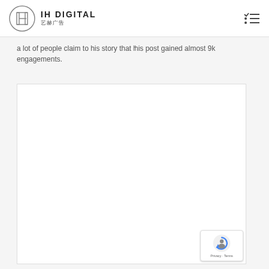IH DIGITAL 艺赫广告
a lot of people claim to his story that his post gained almost 9k engagements.
[Figure (other): White empty image placeholder box]